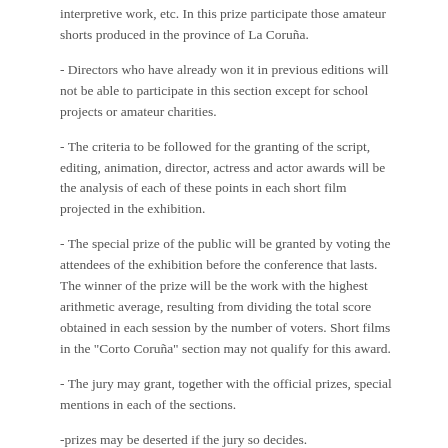interpretive work, etc. In this prize participate those amateur shorts produced in the province of La Coruña.
- Directors who have already won it in previous editions will not be able to participate in this section except for school projects or amateur charities.
- The criteria to be followed for the granting of the script, editing, animation, director, actress and actor awards will be the analysis of each of these points in each short film projected in the exhibition.
- The special prize of the public will be granted by voting the attendees of the exhibition before the conference that lasts. The winner of the prize will be the work with the highest arithmetic average, resulting from dividing the total score obtained in each session by the number of voters. Short films in the "Corto Coruña" section may not qualify for this award.
- The jury may grant, together with the official prizes, special mentions in each of the sections.
-prizes may be deserted if the jury so decides.
5.1 Award-winning works